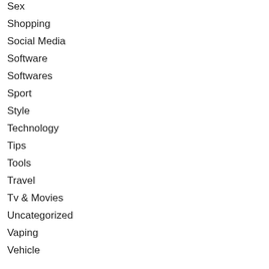Sex
Shopping
Social Media
Software
Softwares
Sport
Style
Technology
Tips
Tools
Travel
Tv & Movies
Uncategorized
Vaping
Vehicle